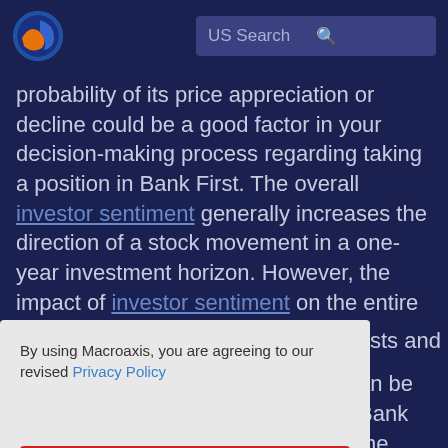US Search
probability of its price appreciation or decline could be a good factor in your decision-making process regarding taking a position in Bank First. The overall investor sentiment generally increases the direction of a stock movement in a one-year investment horizon. However, the impact of investor sentiment on the entire stock markets
By using Macroaxis, you are agreeing to our revised Privacy Policy
OK
sts and
an be Bank
the